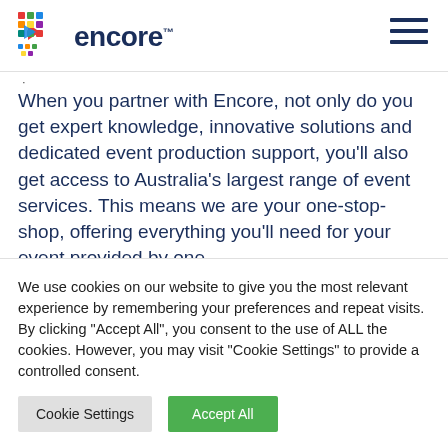[Figure (logo): Encore logo with colorful pixel/dot icon and dark blue 'encore' wordmark]
When you partner with Encore, not only do you get expert knowledge, innovative solutions and dedicated event production support, you’ll also get access to Australia’s largest range of event services. This means we are your one-stop-shop, offering everything you’ll need for your event provided by one
We use cookies on our website to give you the most relevant experience by remembering your preferences and repeat visits. By clicking “Accept All”, you consent to the use of ALL the cookies. However, you may visit “Cookie Settings” to provide a controlled consent.